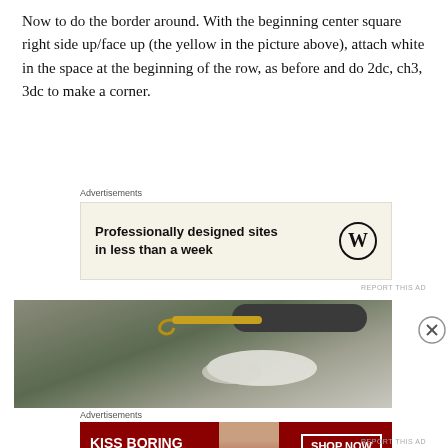Now to do the border around. With the beginning center square right side up/face up (the yellow in the picture above), attach white in the space at the beginning of the row, as before and do 2dc, ch3, 3dc to make a corner.
Advertisements
[Figure (other): Advertisement banner: Professionally designed sites in less than a week, with WordPress logo]
[Figure (photo): Close-up photo of a crochet hook with gold/metallic shaft and dark grey handle, working on white crochet stitches over a green background]
Advertisements
[Figure (other): Advertisement banner for Macy's: KISS BORING LIPS GOODBYE with woman's face and SHOP NOW button with Macy's star logo]